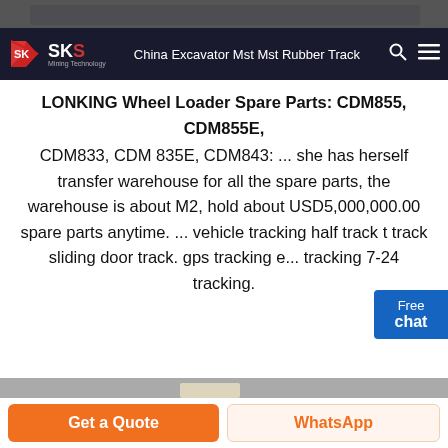[Figure (photo): Top strip image, dark gray, partial excavator/machinery photo]
SKS Mining Technology — China Excavator Mst Mst Rubber Track
LONKING Wheel Loader Spare Parts: CDM855, CDM855E, CDM833, CDM 835E, CDM843: ... she has herself transfer warehouse for all the spare parts, the warehouse is about M2, hold about USD5,000,000.00 spare parts anytime. ... vehicle tracking half track t track sliding door track. gps tracking e... tracking 7-24 tracking.
[Figure (photo): Orange excavator/wheel loader cab close-up photo in a factory/warehouse setting]
Get a Quote
WhatsApp